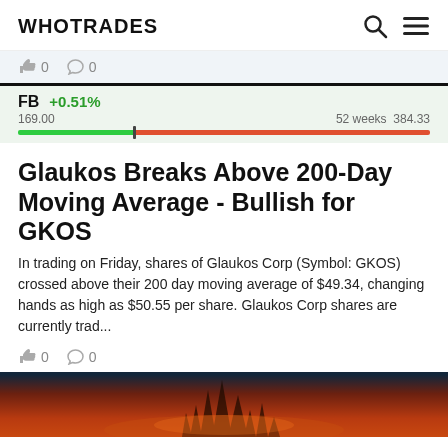WHOTRADES
👍 0   💬 0
FB +0.51%
169.00   52 weeks   384.33
Glaukos Breaks Above 200-Day Moving Average - Bullish for GKOS
In trading on Friday, shares of Glaukos Corp (Symbol: GKOS) crossed above their 200 day moving average of $49.34, changing hands as high as $50.55 per share. Glaukos Corp shares are currently trad...
👍 0   💬 0
[Figure (photo): Dark fantasy image showing iron throne-like spikes against a fiery orange background, partially visible at bottom of page]